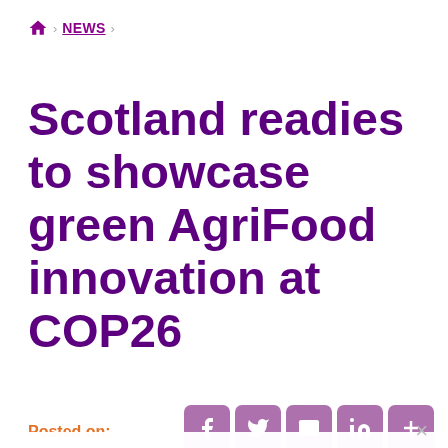Home > NEWS >
Scotland readies to showcase green AgriFood innovation at COP26
Posted on:
This site uses cookies to offer you a better browsing experience. Find out more on how we use your personal information in our Privacy Policy.
I understand